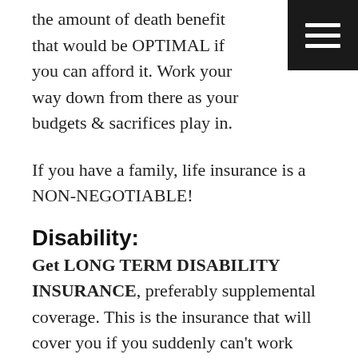the amount of death benefit that would be OPTIMAL if you can afford it. Work your way down from there as your budgets & sacrifices play in.
If you have a family, life insurance is a NON-NEGOTIABLE!
Disability:
Get LONG TERM DISABILITY INSURANCE, preferably supplemental coverage. This is the insurance that will cover you if you suddenly can't work because of various disabling factors. Imagine you get hit in the head, have debilitating migraines, screw up your back, go blind, or have a stroke and cannot work. What